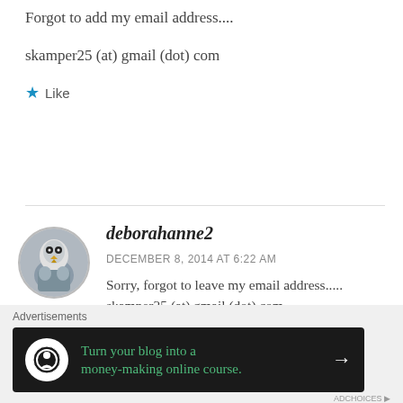Forgot to add my email address....
skamper25 (at) gmail (dot) com
Like
deborahanne2
DECEMBER 8, 2014 AT 6:22 AM
Sorry, forgot to leave my email address..... skamper25 (at) gmail (dot) com
Advertisements
Turn your blog into a money-making online course.